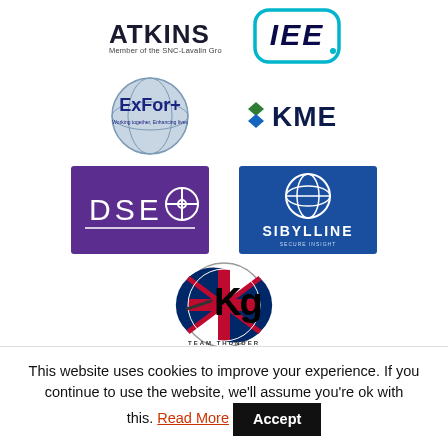[Figure (logo): ATKINS – Member of the SNC-Lavalin Group logo]
[Figure (logo): IEE logo with teal rounded rectangle outline]
[Figure (logo): ExFor+ Working Together, Enhancing Lives logo with globe graphic]
[Figure (logo): KME logo with green diamond/chevron icon]
[Figure (logo): DSEI logo on purple background with crosshair]
[Figure (logo): SIBYLLINE logo on blue background with globe]
[Figure (logo): Kg Team Thunder logo with UK flag and tank]
[Figure (logo): 6x6 HULOAD partial logo / photo row]
This website uses cookies to improve your experience. If you continue to use the website, we'll assume you're ok with this. Read More  Accept